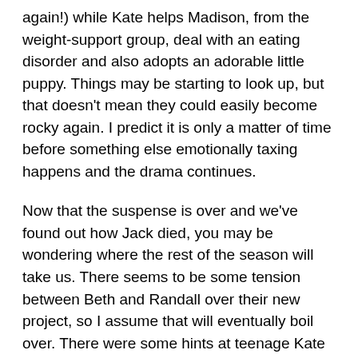again!) while Kate helps Madison, from the weight-support group, deal with an eating disorder and also adopts an adorable little puppy. Things may be starting to look up, but that doesn't mean they could easily become rocky again. I predict it is only a matter of time before something else emotionally taxing happens and the drama continues.
Now that the suspense is over and we've found out how Jack died, you may be wondering where the rest of the season will take us. There seems to be some tension between Beth and Randall over their new project, so I assume that will eventually boil over. There were some hints at teenage Kate having an eating disorder right before her father's death, so I also assume we will be returning to that.
As the season progresses it will be interesting to see where life takes America's favorite family next. If one thing's for